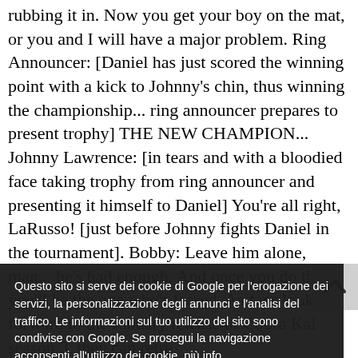rubbing it in. Now you get your boy on the mat, or you and I will have a major problem. Ring Announcer: [Daniel has just scored the winning point with a kick to Johnny's chin, thus winning the championship... ring announcer prepares to present trophy] THE NEW CHAMPION... Johnny Lawrence: [in tears and with a bloodied face taking trophy from ring announcer and presenting it himself to Daniel] You're all right, LaRusso! [just before Johnny fights Daniel in the tournament]. Bobby: Leave him alone, man... he's had enough. And once you do that, you'll be the one who's feared. As fans look forward to the January release of Cobra Kai season 3, they can retre the old episodes to appreciate just how much heart th writers means movi who refrai ight agains Miyagi- Do karate in season two i. Johnny used them as a way to better teach his students, but he soon found the detrimental effects of those words.
Questo sito si serve dei cookie di Google per l'erogazione dei servizi, la personalizzazione degli annunci e l'analisi del traffico. Le informazioni sul tuo utilizzo del sito sono condivise con Google. Se prosegui la navigazione acconsenti all'utilizzo dei cookie. più info